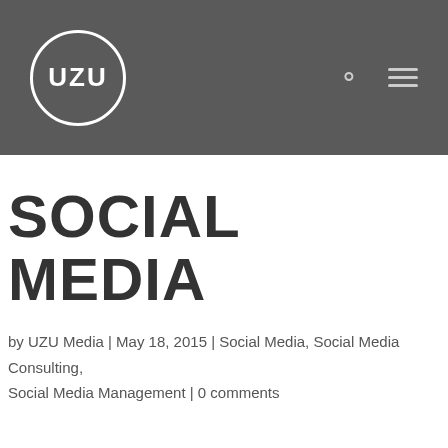[Figure (logo): UZU Media logo — white circle with 'UZU' text inside, on dark gray header bar with search and menu icons]
SOCIAL MEDIA
by UZU Media | May 18, 2015 | Social Media, Social Media Consulting, Social Media Management | 0 comments